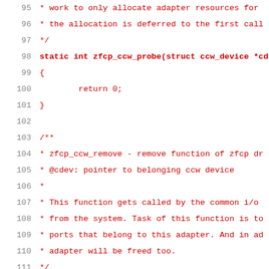[Figure (screenshot): Source code listing showing C code for zfcp_ccw_probe and zfcp_ccw_remove functions with line numbers 95-116]
95  * work to only allocate adapter resources for...
96  * the allocation is deferred to the first call...
97  */
98 static int zfcp_ccw_probe(struct ccw_device *cd...
99 {
100         return 0;
101 }
102
103 /**
104  * zfcp_ccw_remove - remove function of zfcp dr...
105  * @cdev: pointer to belonging ccw device
106  *
107  * This function gets called by the common i/o ...
108  * from the system. Task of this function is to...
109  * ports that belong to this adapter. And in ad...
110  * adapter will be freed too.
111  */
112 static void zfcp_ccw_remove(struct ccw_device *...
113 {
114         struct zfcp_adapter *adapter;
115         struct zfcp_port *port, *p;
116         struct zfcp_unit *unit, *u;